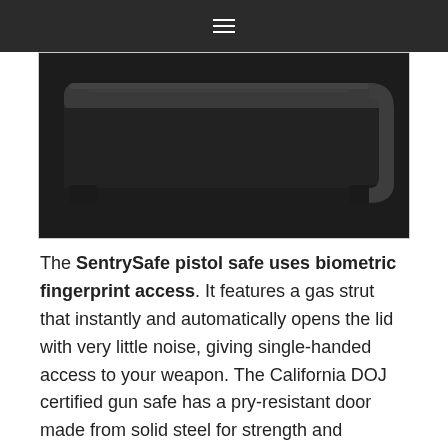☰
[Figure (photo): Close-up photo of a black SentrySafe pistol safe showing the top and front edge of the unit against a dark background]
The SentrySafe pistol safe uses biometric fingerprint access. It features a gas strut that instantly and automatically opens the lid with very little noise, giving single-handed access to your weapon. The California DOJ certified gun safe has a pry-resistant door made from solid steel for strength and security.
Aside from the advanced fingerprint technology, there is a keypad and override key, giving you back